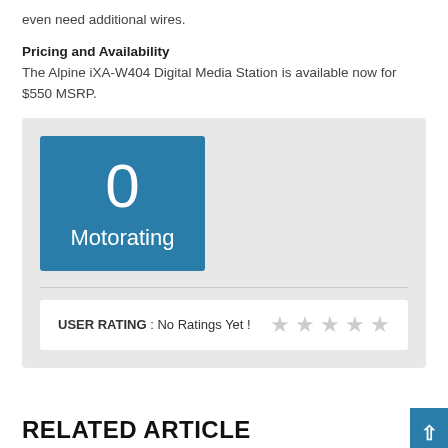even need additional wires.
Pricing and Availability
The Alpine iXA-W404 Digital Media Station is available now for $550 MSRP.
[Figure (infographic): Rating box with Motorating score of 0 and user rating section showing 'No Ratings Yet!' with 5 empty stars]
RELATED ARTICLE